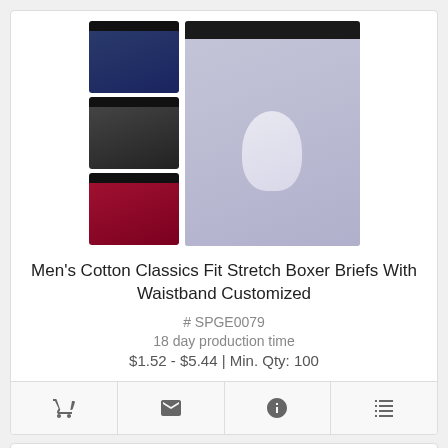[Figure (photo): Product images of Men's Cotton Classics Fit Stretch Boxer Briefs: four thumbnail images (navy, black, red, and large gray/silver main image)]
Men's Cotton Classics Fit Stretch Boxer Briefs With Waistband Customized
# SPGE0079
18 day production time
$1.52 - $5.44 | Min. Qty: 100
[Figure (photo): Second product card showing boxer briefs in gray/silver and red/burgundy colors, with purple mail icon bubble]